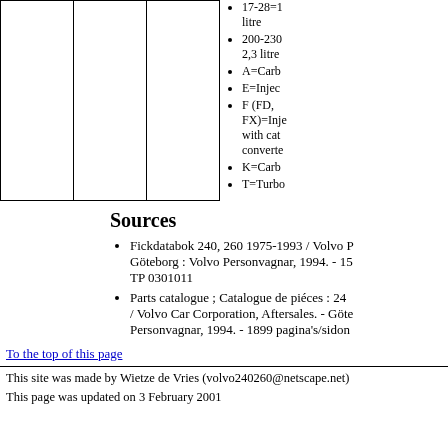|  |  |  |
17-28=1 litre
200-230=2,3 litre
A=Carb
E=Injec
F (FD, FX)=Inje with cat converte
K=Carb
T=Turbo
Sources
Fickdatabok 240, 260 1975-1993 / Volvo P Göteborg : Volvo Personvagnar, 1994. - 15 TP 0301011
Parts catalogue ; Catalogue de piéces : 24 / Volvo Car Corporation, Aftersales. - Göte Personvagnar, 1994. - 1899 pagina's/sidon
To the top of this page
This site was made by Wietze de Vries (volvo240260@netscape.net)
This page was updated on 3 February 2001